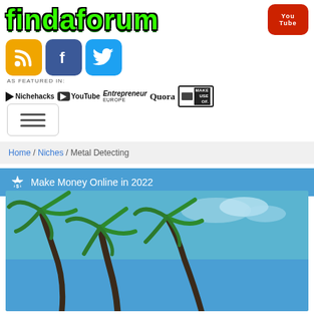[Figure (logo): FindAForum logo in large green text with black outline, next to a red YouTube button]
[Figure (logo): Social media icons: RSS (orange), Facebook (blue), Twitter (light blue), with 'AS FEATURED IN' text below]
[Figure (logo): Featured-in bar showing: Nichehacks, YouTube, Entrepreneur Europe, Quora, Make Use Of logos]
[Figure (infographic): Hamburger menu button (three horizontal lines) in a rounded rectangle]
Home / Niches / Metal Detecting
Make Money Online in 2022
[Figure (photo): Photo of palm trees against blue sky]